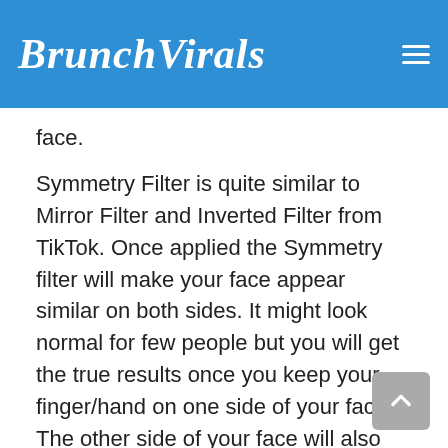BrunchVirals
face.
Symmetry Filter is quite similar to Mirror Filter and Inverted Filter from TikTok. Once applied the Symmetry filter will make your face appear similar on both sides. It might look normal for few people but you will get the true results once you keep your finger/hand on one side of your face. The other side of your face will also look similar.